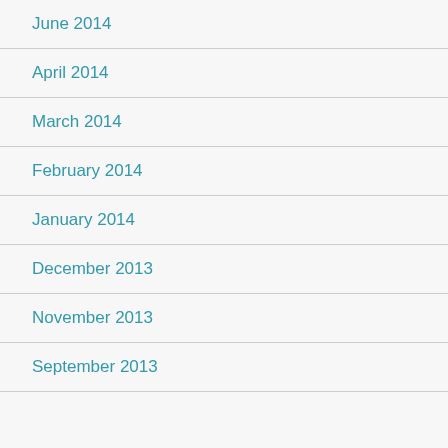June 2014
April 2014
March 2014
February 2014
January 2014
December 2013
November 2013
September 2013